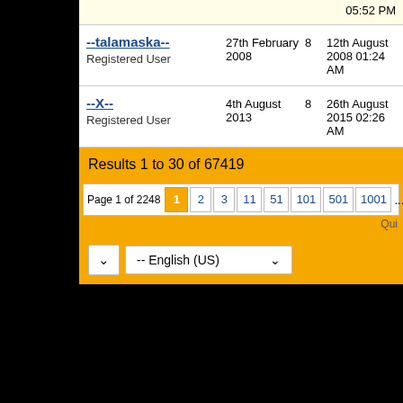05:52 PM
| Username | Join Date | Posts | Last Post |
| --- | --- | --- | --- |
| --talamaska-- Registered User | 27th February 2008 | 8 | 12th August 2008 01:24 AM |
| --X-- Registered User | 4th August 2013 | 8 | 26th August 2015 02:26 AM |
Results 1 to 30 of 67419
Page 1 of 2248  1  2  3  11  51  101  501  1001  ...  ▶  Last  Qui
-- English (US)
All times are GMT +2. The time now is 06:4
Powered by vBulletin Version 4.2.5
Copyright © 2022 vBulletin Solutions Inc. All righ